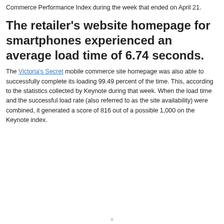Commerce Performance Index during the week that ended on April 21.
The retailer's website homepage for smartphones experienced an average load time of 6.74 seconds.
The Victoria's Secret mobile commerce site homepage was also able to successfully complete its loading 99.49 percent of the time. This, according to the statistics collected by Keynote during that week. When the load time and the successful load rate (also referred to as the site availability) were combined, it generated a score of 816 out of a possible 1,000 on the Keynote index.
x